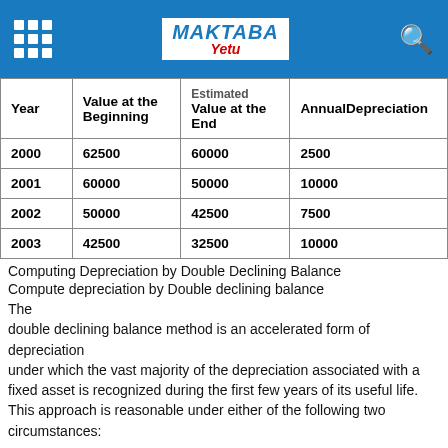Maktaba Yetu
| Year | Value at the Beginning | Estimated Value at the End | AnnualDepreciation |
| --- | --- | --- | --- |
| 2000 | 62500 | 60000 | 2500 |
| 2001 | 60000 | 50000 | 10000 |
| 2002 | 50000 | 42500 | 7500 |
| 2003 | 42500 | 32500 | 10000 |
Computing Depreciation by Double Declining Balance
Compute depreciation by Double declining balance
The double declining balance method is an accelerated form of depreciation under which the vast majority of the depreciation associated with a fixed asset is recognized during the first few years of its useful life. This approach is reasonable under either of the following two circumstances: